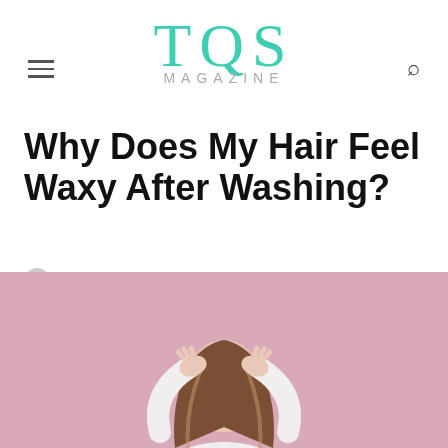TQS MAGAZINE
Why Does My Hair Feel Waxy After Washing?
jack • June 20, 2022 • Lifestyle
[Figure (photo): Woman in white top with hands in her hair against a pink background]